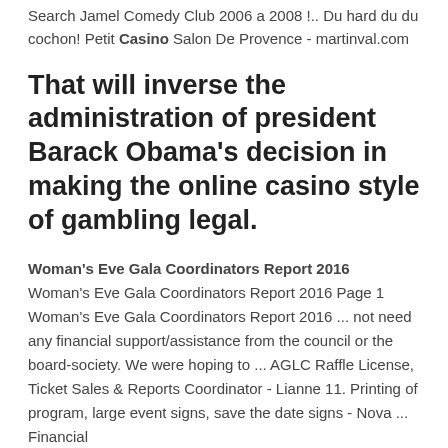Search Jamel Comedy Club 2006 a 2008 !.. Du hard du du cochon! Petit Casino Salon De Provence - martinval.com
That will inverse the administration of president Barack Obama's decision in making the online casino style of gambling legal.
Woman's Eve Gala Coordinators Report 2016 Woman's Eve Gala Coordinators Report 2016 Page 1 Woman's Eve Gala Coordinators Report 2016 ... not need any financial support/assistance from the council or the board-society. We were hoping to ... AGLC Raffle License, Ticket Sales & Reports Coordinator - Lianne 11. Printing of program, large event signs, save the date signs - Nova ... Financial